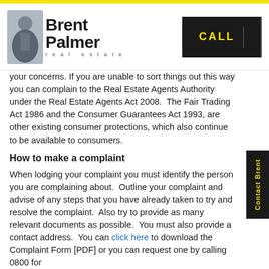[Figure (logo): Brent Palmer Real Estate logo with person photo and CALL button]
your concerns. If you are unable to sort things out this way you can complain to the Real Estate Agents Authority under the Real Estate Agents Act 2008. The Fair Trading Act 1986 and the Consumer Guarantees Act 1993, are other existing consumer protections, which also continue to be available to consumers.
How to make a complaint
When lodging your complaint you must identify the person you are complaining about. Outline your complaint and advise of any steps that you have already taken to try and resolve the complaint. Also try to provide as many relevant documents as possible. You must also provide a contact address. You can click here to download the Complaint Form [PDF] or you can request one by calling 0800 for